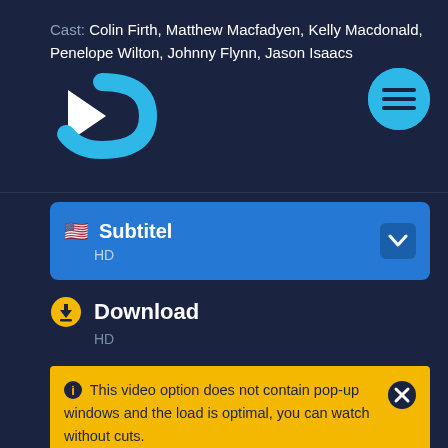Cast: Colin Firth, Matthew Macfadyen, Kelly Macdonald, Penelope Wilton, Johnny Flynn, Jason Isaacs
[Figure (logo): Streaming service logo with play button arrow and curved C shape in blue tones]
[Figure (screenshot): Blue circle menu button with hamburger/three-line icon]
🇺🇸 Subtitel
HD
Download
HD
ℹ This video option does not contain pop-up windows and the load is optimal, you can watch without cuts.
The media could not be loaded, either because the server or network failed or because the format is not supported.